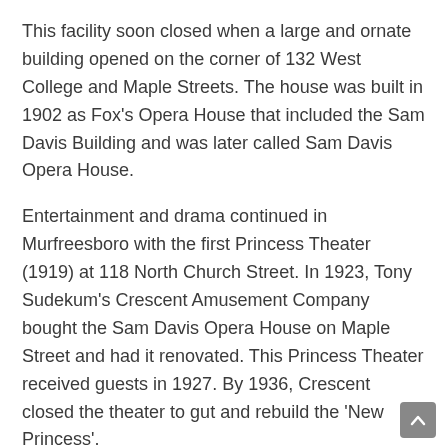This facility soon closed when a large and ornate building opened on the corner of 132 West College and Maple Streets. The house was built in 1902 as Fox's Opera House that included the Sam Davis Building and was later called Sam Davis Opera House.
Entertainment and drama continued in Murfreesboro with the first Princess Theater (1919) at 118 North Church Street. In 1923, Tony Sudekum's Crescent Amusement Company bought the Sam Davis Opera House on Maple Street and had it renovated. This Princess Theater received guests in 1927. By 1936, Crescent closed the theater to gut and rebuild the 'New Princess'.
The second New Princess Theater opened December 10, 1936 on College Street and was remodeled in 1945 with closure on February 2, 1972 to build Cavalry Bank. There were 539 seats in this theater. Saturday admission for RC matinees was a cost of six RC bottle caps.